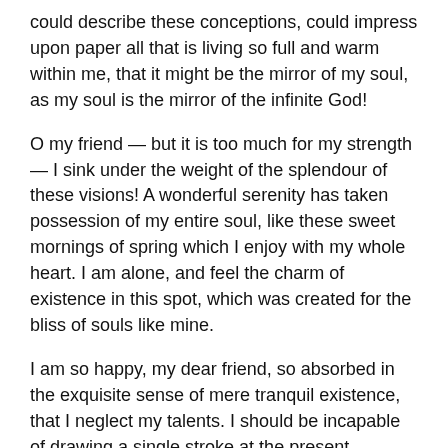could describe these conceptions, could impress upon paper all that is living so full and warm within me, that it might be the mirror of my soul, as my soul is the mirror of the infinite God!
O my friend — but it is too much for my strength — I sink under the weight of the splendour of these visions! A wonderful serenity has taken possession of my entire soul, like these sweet mornings of spring which I enjoy with my whole heart. I am alone, and feel the charm of existence in this spot, which was created for the bliss of souls like mine.
I am so happy, my dear friend, so absorbed in the exquisite sense of mere tranquil existence, that I neglect my talents. I should be incapable of drawing a single stroke at the present moment; and yet I feel that I never was a greater artist th[↑]now.